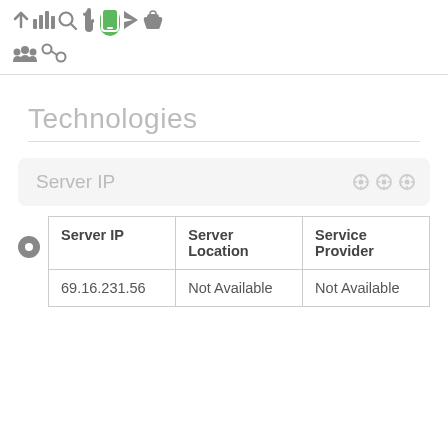[Figure (screenshot): Toolbar row with icons: up arrow, bar chart, search, hand pointer, mobile phone (active, green background), rocket/send, thumbs up]
[Figure (screenshot): Second toolbar row with icons: group/people, link/chain]
Technologies
Server IP
| Server IP | Server Location | Service Provider |
| --- | --- | --- |
| 69.16.231.56 | Not Available | Not Available |